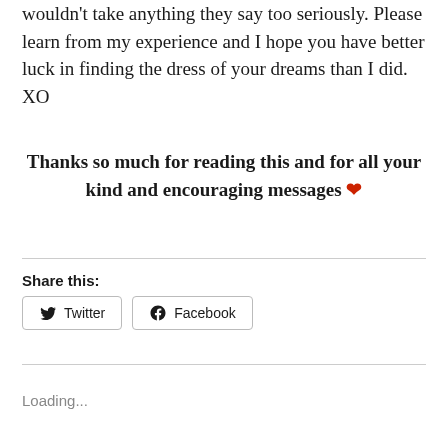wouldn't take anything they say too seriously. Please learn from my experience and I hope you have better luck in finding the dress of your dreams than I did. XO
Thanks so much for reading this and for all your kind and encouraging messages ❤
Share this:
Twitter  Facebook
Loading...